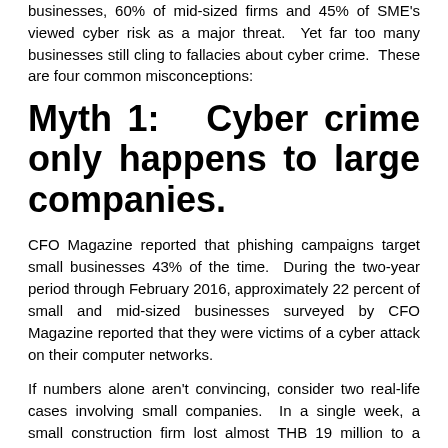businesses, 60% of mid-sized firms and 45% of SME's viewed cyber risk as a major threat. Yet far too many businesses still cling to fallacies about cyber crime. These are four common misconceptions:
Myth 1: Cyber crime only happens to large companies.
CFO Magazine reported that phishing campaigns target small businesses 43% of the time. During the two-year period through February 2016, approximately 22 percent of small and mid-sized businesses surveyed by CFO Magazine reported that they were victims of a cyber attack on their computer networks.
If numbers alone aren't convincing, consider two real-life cases involving small companies. In a single week, a small construction firm lost almost THB 19 million to a Trojan